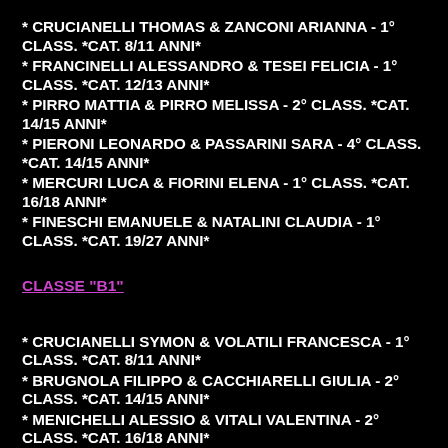* CRUCIANELLI THOMAS & ZANCONI ARIANNA - 1° CLASS. *CAT. 8/11 ANNI*
* FRANCINELLI ALESSANDRO & TESEI FELICIA - 1° CLASS. *CAT. 12/13 ANNI*
* PIRRO MATTIA & PIRRO MELISSA - 2° CLASS. *CAT. 14/15 ANNI*
* PIERONI LEONARDO & PASSARINI SARA - 4° CLASS. *CAT. 14/15 ANNI*
* MERCURI LUCA & FIORINI ELENA - 1° CLASS. *CAT. 16/18 ANNI*
* FINESCHI EMANUELE & NATALINI CLAUDIA - 1° CLASS. *CAT. 19/27 ANNI*
CLASSE "B1"
* CRUCIANELLI SYMON & VOLATILI FRANCESCA - 1° CLASS. *CAT. 8/11 ANNI*
* BRUGNOLA FILIPPO & CACCHIARELLI GIULIA - 2° CLASS. *CAT. 14/15 ANNI*
* MENICHELLI ALESSIO & VITALI VALENTINA - 2° CLASS. *CAT. 16/18 ANNI*